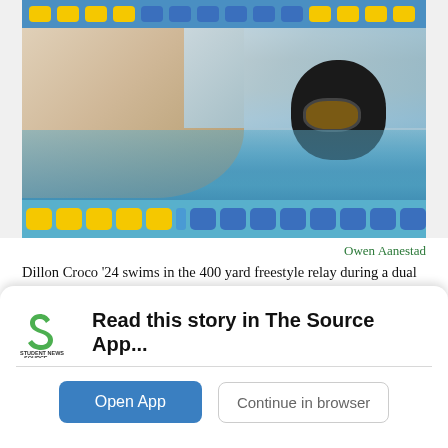[Figure (photo): A swimmer in a black cap and goggles swims the freestyle stroke in a pool during a competition. Yellow and blue lane dividers are visible at the top and bottom of the pool.]
Owen Aanestad
Dillon Croco '24 swims in the 400 yard freestyle relay during a dual meet against Waterloo on Dec. 14.
Read this story in The Source App...
Open App   Continue in browser